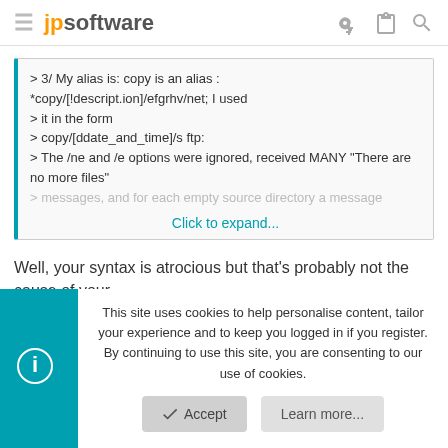jpsoftware
> 3/ My alias is: copy is an alias : *copy/[!descript.ion]/efgrhv/net; I used
> it in the form
> copy/[ddate_and_time]/s ftp:
> The /ne and /e options were ignored, received MANY "There are no more files"
> messages, and for each empty source directory a message
Click to expand...
Well, your syntax is atrocious but that's probably not the cause of your
This site uses cookies to help personalise content, tailor your experience and to keep you logged in if you register.
By continuing to use this site, you are consenting to our use of cookies.